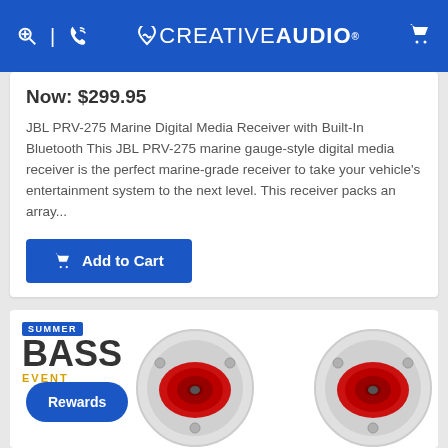CREATIVE AUDIO
Now: $299.95
JBL PRV-275 Marine Digital Media Receiver with Built-In Bluetooth This JBL PRV-275 marine gauge-style digital media receiver is the perfect marine-grade receiver to take your vehicle's entertainment system to the next level. This receiver packs an array...
Add to Cart
[Figure (logo): Summer Bass Event logo with blue background badge saying SUMMER, large bold BASS text, and gold EVENT text]
[Figure (photo): Two round marine speakers with red cones and white/gray housings]
Rewards